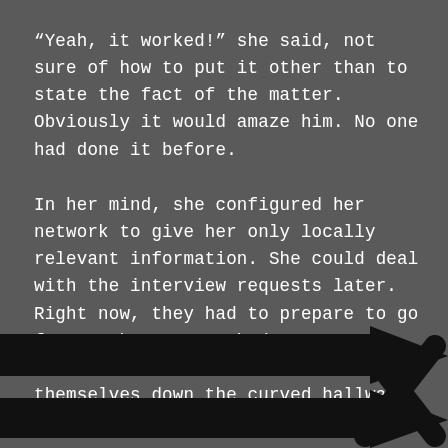“Yeah, it worked!” she said, not sure of how to put it other than to state the fact of the matter. Obviously it would amaze him. No one had done it before.
In her mind, she configured her network to give her only locally relevant information. She could deal with the interview requests later. Right now, they had to prepare to go faster than anyone had ever gone before. Arm in arm, the two launched themselves down the curved hallway.
[Figure (illustration): Two thick horizontal black arrow/bar shapes pointing to the right, with an X mark visible at the right end, set against the dark grey background.]